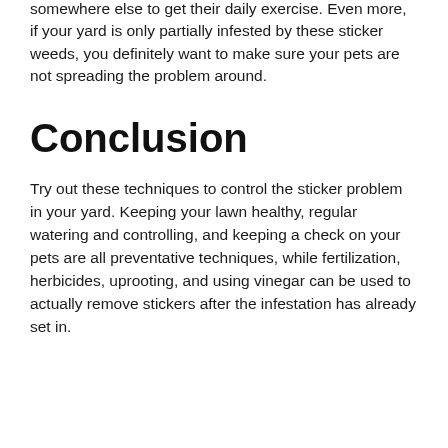somewhere else to get their daily exercise. Even more, if your yard is only partially infested by these sticker weeds, you definitely want to make sure your pets are not spreading the problem around.
Conclusion
Try out these techniques to control the sticker problem in your yard. Keeping your lawn healthy, regular watering and controlling, and keeping a check on your pets are all preventative techniques, while fertilization, herbicides, uprooting, and using vinegar can be used to actually remove stickers after the infestation has already set in.